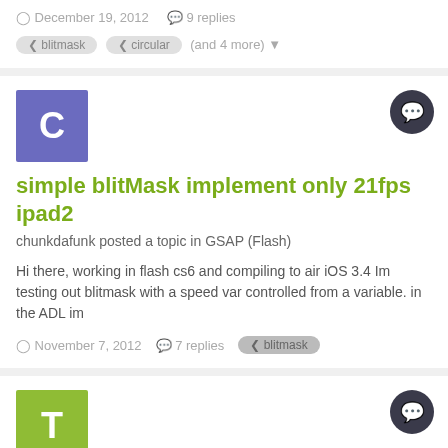December 19, 2012   9 replies   blitmask   circular   (and 4 more)
[Figure (other): Forum post card: avatar letter C, topic title 'simple blitMask implement only 21fps ipad2', reply icon, posted by chunkdafunk in GSAP (Flash), snippet text, date November 7 2012, 7 replies, blitmask tag]
[Figure (other): Forum post card: avatar letter T, topic title 'BlitMask Stuttering on scrollX - Simple Panorama Viewer', reply icon, posted by themitchnz in GSAP (Flash)]